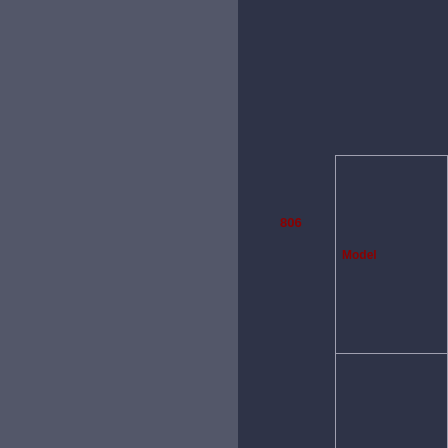806
| Model |
| --- |
| Peugeot 806 2.0 8V |
| Peugeot 806 2.0 HE |